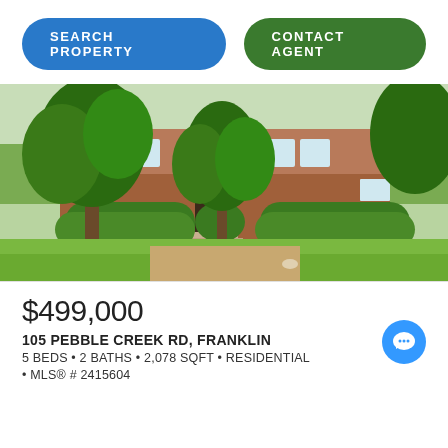SEARCH PROPERTY
CONTACT AGENT
[Figure (photo): Exterior photo of a two-story brick and siding residential home with large trees and green lawn in the foreground, green hedges flanking the front entrance.]
$499,000
105 PEBBLE CREEK RD, FRANKLIN
5 BEDS • 2 BATHS • 2,078 SQFT • RESIDENTIAL
• MLS® # 2415604